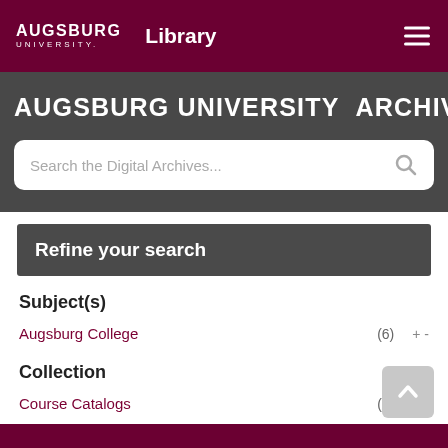AUGSBURG UNIVERSITY Library [navigation]
AUGSBURG UNIVERSITY | ARCHIVES
Search the Digital Archives...
Refine your search
Subject(s)
Augsburg College (6) + -
Collection
Course Catalogs (7) + -